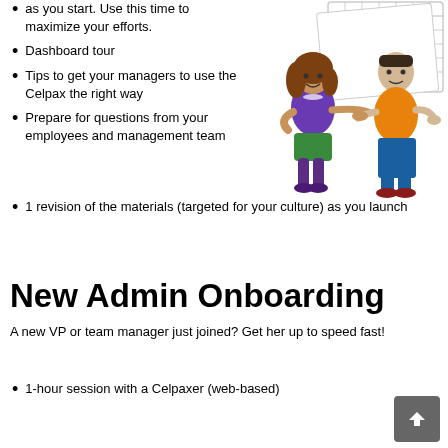as you start. Use this time to maximize your efforts.
Dashboard tour
Tips to get your managers to use the Celpax the right way
Prepare for questions from your employees and management team
[Figure (illustration): Cartoon illustration of two people shaking hands, a woman in purple top and green skirt with purple boots, and a man in orange shirt and jeans, with calendar/grid in background]
1 revision of the materials (targeted for your culture) as you launch
New Admin Onboarding
A new VP or team manager just joined? Get her up to speed fast!
1-hour session with a Celpaxer (web-based)